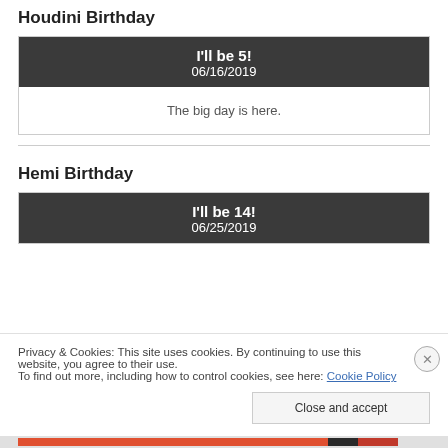Houdini Birthday
| I'll be 5! | 06/16/2019 |
| The big day is here. |
Hemi Birthday
| I'll be 14! | 06/25/2019 |
Privacy & Cookies: This site uses cookies. By continuing to use this website, you agree to their use.
To find out more, including how to control cookies, see here: Cookie Policy
Close and accept